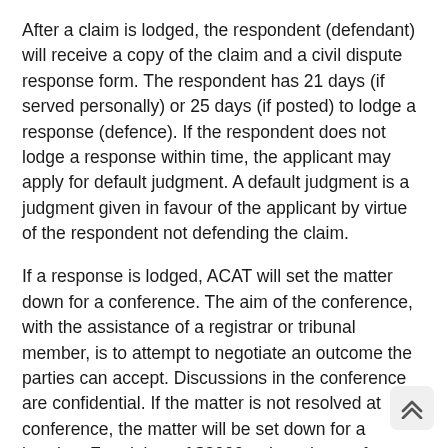After a claim is lodged, the respondent (defendant) will receive a copy of the claim and a civil dispute response form. The respondent has 21 days (if served personally) or 25 days (if posted) to lodge a response (defence). If the respondent does not lodge a response within time, the applicant may apply for default judgment. A default judgment is a judgment given in favour of the applicant by virtue of the respondent not defending the claim.
If a response is lodged, ACAT will set the matter down for a conference. The aim of the conference, with the assistance of a registrar or tribunal member, is to attempt to negotiate an outcome the parties can accept. Discussions in the conference are confidential. If the matter is not resolved at conference, the matter will be set down for a hearing. For claims of $3000 or less the conference and hearing will usually be held on the same day. From claims of above $3000 they are held on different days. The failure of a party to attend a conference or hearing may result in adverse order being made against that party.
ACAT is designed for parties to represent themselves, although